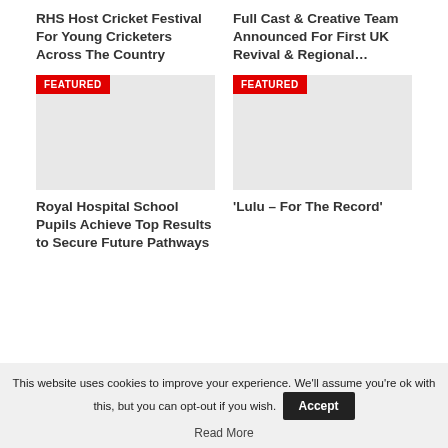RHS Host Cricket Festival For Young Cricketers Across The Country
Full Cast & Creative Team Announced For First UK Revival & Regional...
[Figure (photo): Featured image placeholder (light grey rectangle) with red FEATURED badge]
[Figure (photo): Featured image placeholder (light grey rectangle) with red FEATURED badge]
Royal Hospital School Pupils Achieve Top Results to Secure Future Pathways
'Lulu – For The Record'
This website uses cookies to improve your experience. We'll assume you're ok with this, but you can opt-out if you wish.
Accept
Read More